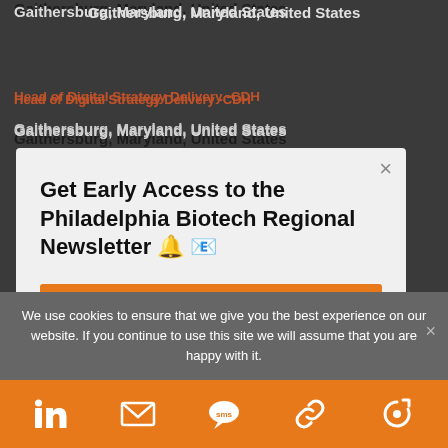Gaithersburg, Maryland, United States
Head of Digital Strategy Delivery -CDH
Gaithersburg, Maryland, United States
Get Early Access to the Philadelphia Biotech Regional Newsletter 🔔 📧
Get Early Access
Gaithersburg, Maryland, United States
Executive Director, Head of Transactions - On...
We use cookies to ensure that we give you the best experience on our website. If you continue to use this site we will assume that you are happy with it.
[Figure (other): Share bar with LinkedIn, email, SMS, link, and refresh/subscribe icons on orange background]